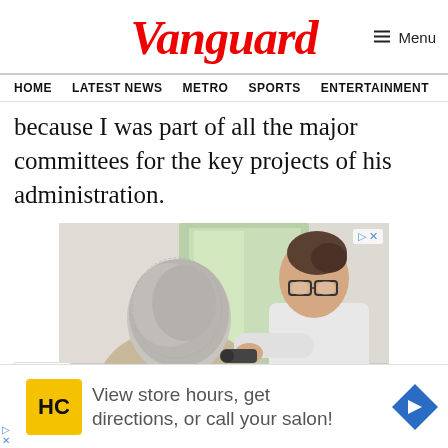Vanguard
HOME  LATEST NEWS  METRO  SPORTS  ENTERTAINMENT  VIDEOS
because I was part of all the major committees for the key projects of his administration.
[Figure (photo): Doctor with glasses examining an elderly patient's back using a magnifying device, in a clinical setting]
View store hours, get directions, or call your salon!